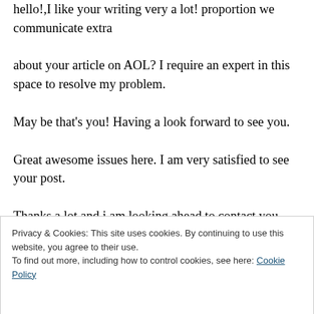hello!,I like your writing very a lot! proportion we communicate extra about your article on AOL? I require an expert in this space to resolve my problem. May be that's you! Having a look forward to see you. Great awesome issues here. I am very satisfied to see your post. Thanks a lot and i am looking ahead to contact you.
Privacy & Cookies: This site uses cookies. By continuing to use this website, you agree to their use. To find out more, including how to control cookies, see here: Cookie Policy
Is going to be back ceaselessly in order to check